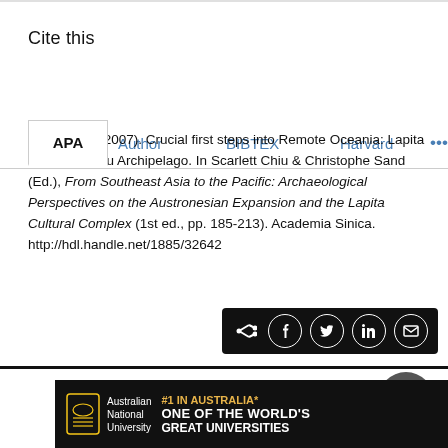Cite this
APA   Author   BIBTEX   Harvard   ...
Bedford, S. (2007). Crucial first steps into Remote Oceania: Lapita in the Vanuatu Archipelago. In Scarlett Chiu & Christophe Sand (Ed.), From Southeast Asia to the Pacific: Archaeological Perspectives on the Austronesian Expansion and the Lapita Cultural Complex (1st ed., pp. 185-213). Academia Sinica. http://hdl.handle.net/1885/32642
[Figure (other): Social share bar with share, Facebook, Twitter, LinkedIn, email icons on black background]
[Figure (other): Scroll-to-top button, dark grey circle with upward chevron]
[Figure (logo): Australian National University footer banner: #1 in Australia* One of the World's Great Universities]